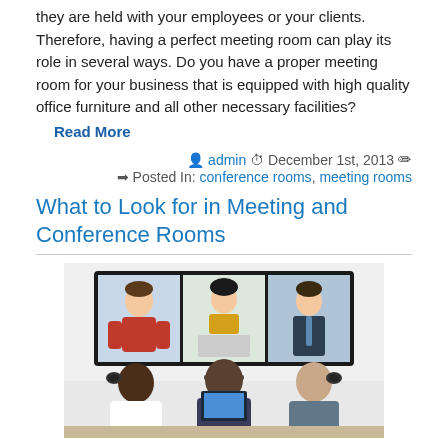they are held with your employees or your clients. Therefore, having a perfect meeting room can play its role in several ways. Do you have a proper meeting room for your business that is equipped with high quality office furniture and all other necessary facilities?
Read More
admin   December 1st, 2013
Posted In: conference rooms, meeting rooms
What to Look for in Meeting and Conference Rooms
[Figure (photo): Video conference scene: three people on large display screens (a man in red shirt, a woman in yellow, a man in suit), and three people seated from behind looking at monitors in the foreground.]
Hiring a meeting or conference room on a temporary basis can be quite a challenge. But if you know what to look for, you can be